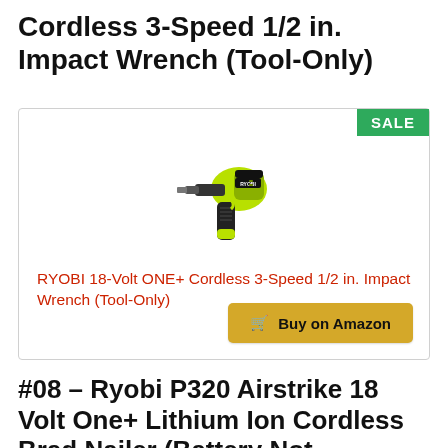Cordless 3-Speed 1/2 in. Impact Wrench (Tool-Only)
[Figure (photo): RYOBI 18-Volt ONE+ Cordless 3-Speed 1/2 in. Impact Wrench product photo with SALE badge]
RYOBI 18-Volt ONE+ Cordless 3-Speed 1/2 in. Impact Wrench (Tool-Only)
Buy on Amazon
#08 – Ryobi P320 Airstrike 18 Volt One+ Lithium Ion Cordless Brad Nailer (Battery Not Included,